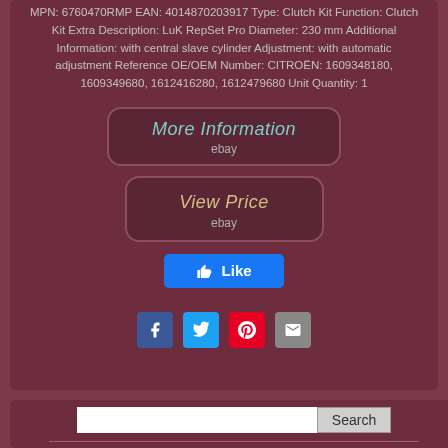MPN: 6760470RMP EAN: 4014870203917 Type: Clutch Kit Function: Clutch Kit Extra Description: LuK RepSet Pro Diameter: 230 mm Additional Information: with central slave cylinder Adjustment: with automatic adjustment Reference OE/OEM Number: CITROËN: 1609348180, 1609349680, 1612416280, 1612479680 Unit Quantity: 1
[Figure (screenshot): eBay 'More Information' button with teal italic text and ebay logo subtitle, dark maroon rounded rectangle background]
[Figure (screenshot): eBay 'View Price' button with gold italic text and ebay logo subtitle, dark maroon rounded rectangle background]
[Figure (screenshot): Facebook Like button, blue rounded rectangle with thumbs up icon and 'Like' text]
[Figure (screenshot): Social sharing icons row: Facebook, Twitter, Pinterest, Email]
[Figure (screenshot): Search bar with text input and Search button, inside a dark maroon panel]